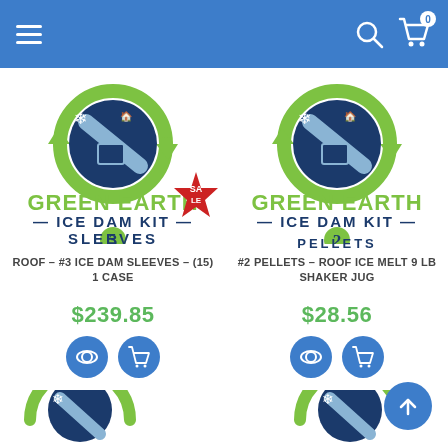Navigation header with hamburger menu, search icon, and cart icon (0 items)
[Figure (logo): Green Earth Ice Dam Kit 3 Sleeves logo with green circular arrow, snowflake, and house icon]
ROOF - #3 ICE DAM SLEEVES - (15) 1 CASE
$239.85
[Figure (logo): Green Earth Ice Dam Kit 2 Pellets logo with green circular arrow, snowflake, and house icon]
#2 PELLETS - ROOF ICE MELT 9 LB SHAKER JUG
$28.56
[Figure (logo): Green Earth Ice Dam Kit logo (partial, bottom left) — third product row beginning]
[Figure (logo): Green Earth Ice Dam Kit logo (partial, bottom right) — fourth product row beginning]